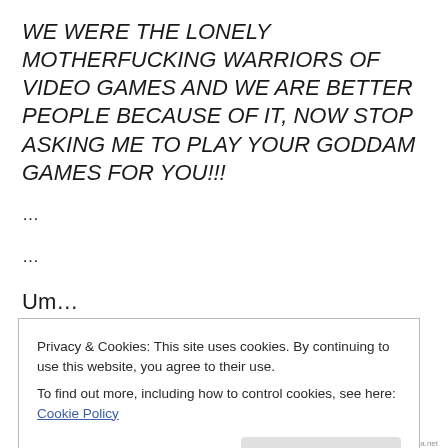WE WERE THE LONELY MOTHERFUCKING WARRIORS OF VIDEO GAMES AND WE ARE BETTER PEOPLE BECAUSE OF IT, NOW STOP ASKING ME TO PLAY YOUR GODDAM GAMES FOR YOU!!!
…
…
Um…
I'm sorry, Daddy didn't mean to…
Privacy & Cookies: This site uses cookies. By continuing to use this website, you agree to their use.
To find out more, including how to control cookies, see here: Cookie Policy
Close and accept